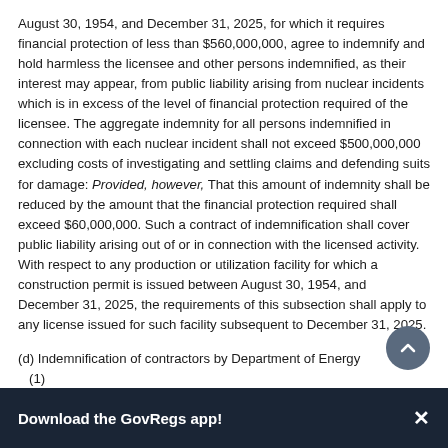August 30, 1954, and December 31, 2025, for which it requires financial protection of less than $560,000,000, agree to indemnify and hold harmless the licensee and other persons indemnified, as their interest may appear, from public liability arising from nuclear incidents which is in excess of the level of financial protection required of the licensee. The aggregate indemnity for all persons indemnified in connection with each nuclear incident shall not exceed $500,000,000 excluding costs of investigating and settling claims and defending suits for damage: Provided, however, That this amount of indemnity shall be reduced by the amount that the financial protection required shall exceed $60,000,000. Such a contract of indemnification shall cover public liability arising out of or in connection with the licensed activity. With respect to any production or utilization facility for which a construction permit is issued between August 30, 1954, and December 31, 2025, the requirements of this subsection shall apply to any license issued for such facility subsequent to December 31, 2025.
(d) Indemnification of contractors by Department of Energy (1)
Download the GovRegs app!